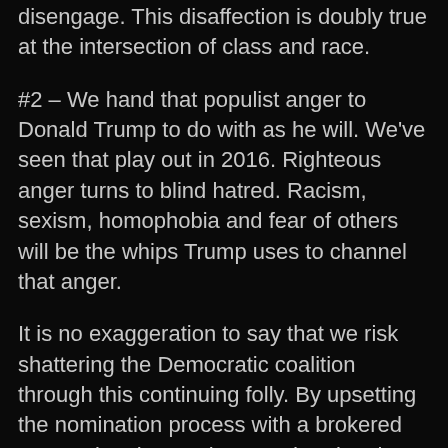disengage. This disaffection is doubly true at the intersection of class and race.
#2 – We hand that populist anger to Donald Trump to do with as he will. We've seen that play out in 2016. Righteous anger turns to blind hatred. Racism, sexism, homophobia and fear of others will be the whips Trump uses to channel that anger.
It is no exaggeration to say that we risk shattering the Democratic coalition through this continuing folly. By upsetting the nomination process with a brokered convention that seeks to undermine the people's will, we court disaster. Based on recent polling, it may not come to that but it's an ugly possibility that we need to reconcile